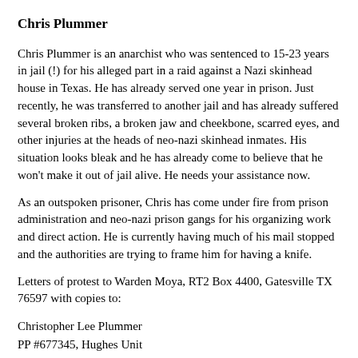Chris Plummer
Chris Plummer is an anarchist who was sentenced to 15-23 years in jail (!) for his alleged part in a raid against a Nazi skinhead house in Texas. He has already served one year in prison. Just recently, he was transferred to another jail and has already suffered several broken ribs, a broken jaw and cheekbone, scarred eyes, and other injuries at the heads of neo-nazi skinhead inmates. His situation looks bleak and he has already come to believe that he won't make it out of jail alive. He needs your assistance now.
As an outspoken prisoner, Chris has come under fire from prison administration and neo-nazi prison gangs for his organizing work and direct action. He is currently having much of his mail stopped and the authorities are trying to frame him for having a knife.
Letters of protest to Warden Moya, RT2 Box 4400, Gatesville TX 76597 with copies to:
Christopher Lee Plummer
PP #677345, Hughes Unit
RT2 Box 4400
Gatesville, TX 76597
Alvaro Hernandez Luna